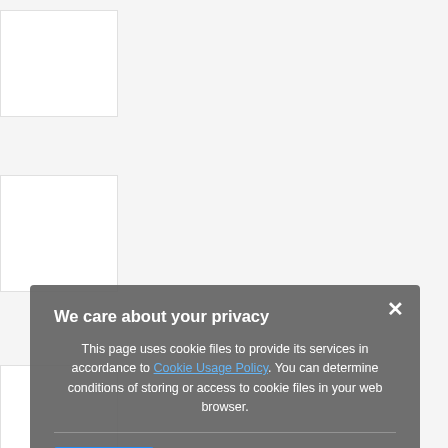[Figure (screenshot): Website page with thumbnail images on the left side, mostly white background with light gray boxes]
[Figure (screenshot): Cookie consent dialog overlay with dark gray background. Title: 'We care about your privacy'. Body text about cookie usage policy. Blue 'Close' button. X close button in top right.]
We care about your privacy
This page uses cookie files to provide its services in accordance to Cookie Usage Policy. You can determine conditions of storing or access to cookie files in your web browser.
Close